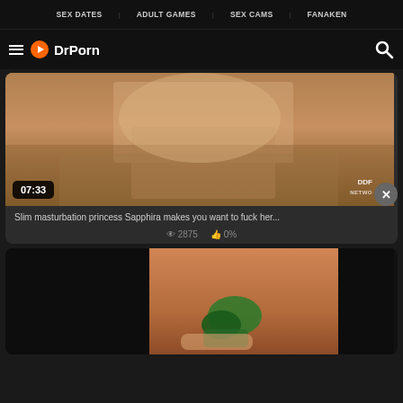SEX DATES  ADULT GAMES  SEX CAMS  FANAKEN
DrPorn
[Figure (screenshot): Video thumbnail showing a slim woman sitting on a chair in a studio setting, with duration badge 07:33 and DDF Network watermark]
Slim masturbation princess Sapphira makes you want to fuck her...
2875  0%
[Figure (screenshot): Video thumbnail showing a hand holding a green object against a skin-toned background, dark sides]